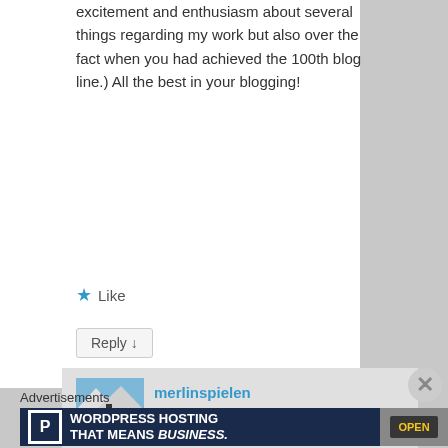excitement and enthusiasm about several things regarding my work but also over the fact when you had achieved the 100th blog line.) All the best in your blogging!
★ Like
Reply ↓
merlinspielen on 2012-07-23 at 14:01 said:
🙂 Thank you for dropping by and
Advertisements
[Figure (other): WordPress Hosting advertisement banner with P logo and OPEN sign photo]